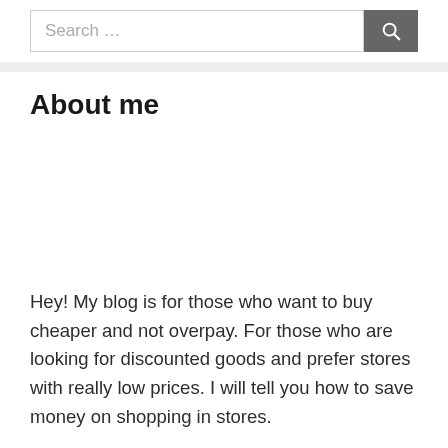Search …
About me
Hey! My blog is for those who want to buy cheaper and not overpay. For those who are looking for discounted goods and prefer stores with really low prices. I will tell you how to save money on shopping in stores.